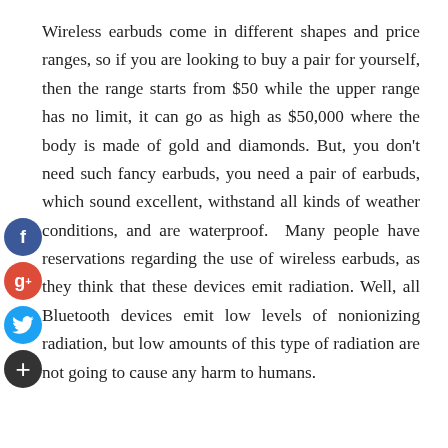Wireless earbuds come in different shapes and price ranges, so if you are looking to buy a pair for yourself, then the range starts from $50 while the upper range has no limit, it can go as high as $50,000 where the body is made of gold and diamonds. But, you don't need such fancy earbuds, you need a pair of earbuds, which sound excellent, withstand all kinds of weather conditions, and are waterproof. Many people have reservations regarding the use of wireless earbuds, as they think that these devices emit radiation. Well, all Bluetooth devices emit low levels of nonionizing radiation, but low amounts of this type of radiation are not going to cause any harm to humans.